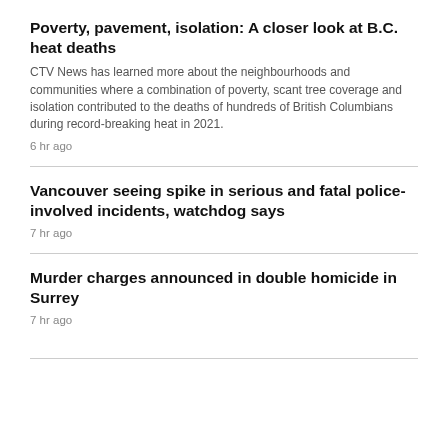Poverty, pavement, isolation: A closer look at B.C. heat deaths
CTV News has learned more about the neighbourhoods and communities where a combination of poverty, scant tree coverage and isolation contributed to the deaths of hundreds of British Columbians during record-breaking heat in 2021.
6 hr ago
Vancouver seeing spike in serious and fatal police-involved incidents, watchdog says
7 hr ago
Murder charges announced in double homicide in Surrey
7 hr ago